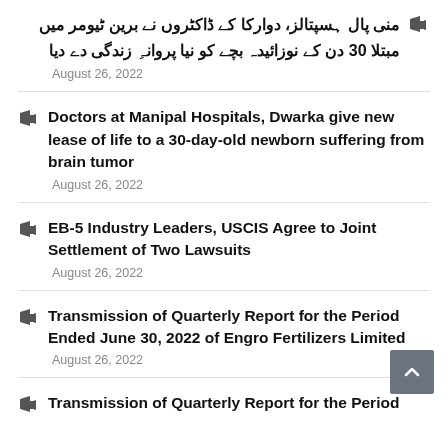منی پال ہسپتالز، دوارکا کے ڈاکٹروں نے برین ٹیومر میں مبتلا 30 دن کے نوزائیدہ بچے کو نیا پروانہِ زندگی دے دیا — August 26, 2022
Doctors at Manipal Hospitals, Dwarka give new lease of life to a 30-day-old newborn suffering from brain tumor — August 26, 2022
EB-5 Industry Leaders, USCIS Agree to Joint Settlement of Two Lawsuits — August 26, 2022
Transmission of Quarterly Report for the Period Ended June 30, 2022 of Engro Fertilizers Limited — August 26, 2022
Transmission of Quarterly Report for the Period